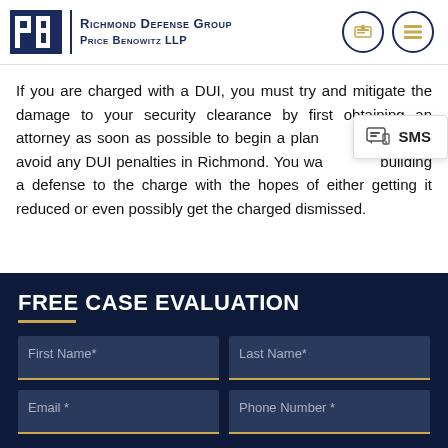Richmond Defense Group Price Benowitz LLP
If you are charged with a DUI, you must try and mitigate the damage to your security clearance by first obtaining an attorney as soon as possible to begin a plan to avoid any DUI penalties in Richmond. You want to begin building a defense to the charge with the hopes of either getting it reduced or even possibly get the charged dismissed.
FREE CASE EVALUATION
First Name*
Last Name*
Email *
Phone Number *